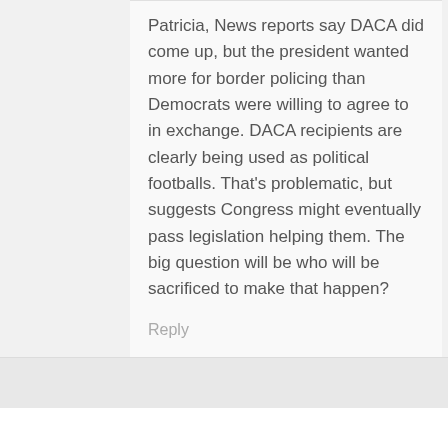Patricia, News reports say DACA did come up, but the president wanted more for border policing than Democrats were willing to agree to in exchange. DACA recipients are clearly being used as political footballs. That's problematic, but suggests Congress might eventually pass legislation helping them. The big question will be who will be sacrificed to make that happen?
Reply
Cynthia says
March 22, 2018 at 5:35 pm
Hi Cesar,